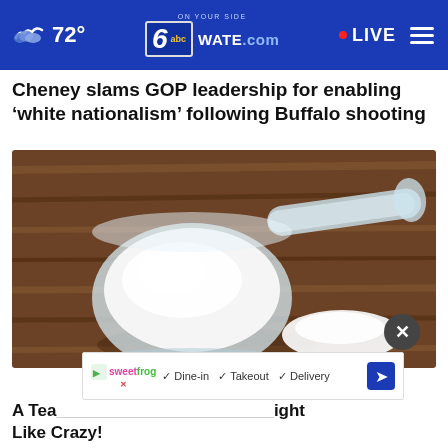72° | WATE.com | LIVE
Cheney slams GOP leadership for enabling ‘white nationalism’ following Buffalo shooting
[Figure (photo): A plastic measuring scoop filled with white powder (protein or formula powder) resting on a rustic wooden surface, with a small pile of the white powder visible beside it.]
A Tea ... ight Like Crazy!